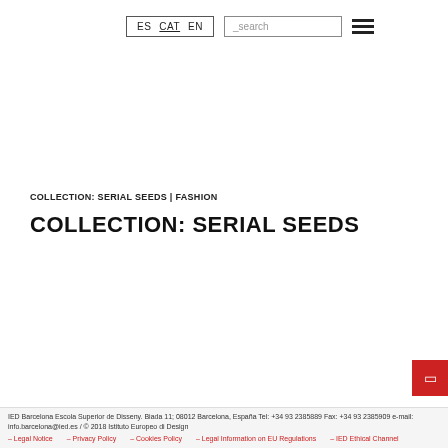ES CAT EN _search
COLLECTION: SERIAL SEEDS | FASHION
COLLECTION: SERIAL SEEDS
IED Barcelona Escola Superior de Disseny. Biada 11; 08012 Barcelona, España Tel: +34 93 2385889 Fax: +34 93 2385909 e-mail: info.barcelona@ied.es / © 2018 Istituto Europeo di Design – Legal Notice – Privacy Policy – Cookies Policy – Legal Information on EU Regulations – IED Ethical Channel